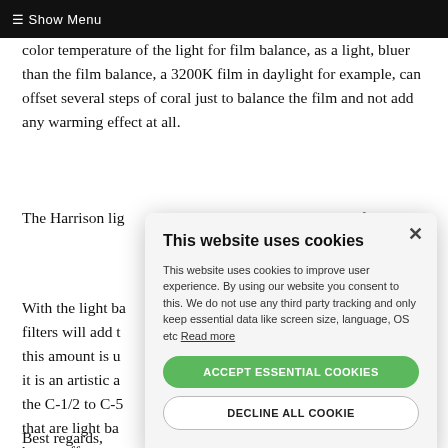≡ Show Menu
color temperature of the light for film balance, as a light, bluer than the film balance, a 3200K film in daylight for example, can offset several steps of coral just to balance the film and not add any warming effect at all.
The Harrison lig... balance for eac... use if it is not i...
With the lights ba... filters will add t... this amount is u... it is an artistic a... the C-1/2 to C-5... that are light ba... heavy effects, c... color.
Best regards,
[Figure (screenshot): Cookie consent modal dialog with title 'This website uses cookies', body text explaining cookie usage with a 'Read more' link, an 'ACCEPT ESSENTIAL COOKIES' green button, and a 'DECLINE ALL COOKIE' white button with border. A close X button is in the top right corner.]